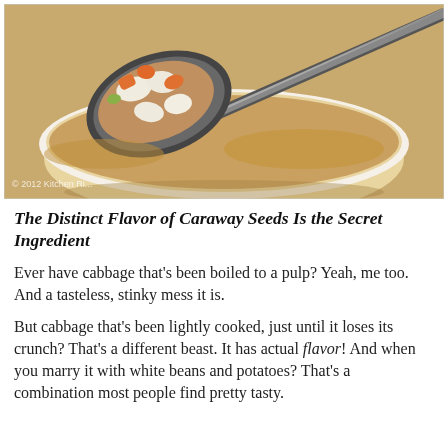[Figure (photo): Close-up photograph of a spoon holding white beans, carrots, and vegetables over a white bowl of bean soup. Bowl is on a wooden surface. Watermark reads '© 2012 Kitchen Ri...' in bottom-left corner.]
The Distinct Flavor of Caraway Seeds Is the Secret Ingredient
Ever have cabbage that's been boiled to a pulp?  Yeah, me too.  And a tasteless, stinky mess it is.
But cabbage that's been lightly cooked, just until it loses its crunch?  That's a different beast.  It has actual flavor!  And when you marry it with white beans and potatoes?  That's a combination most people find pretty tasty.